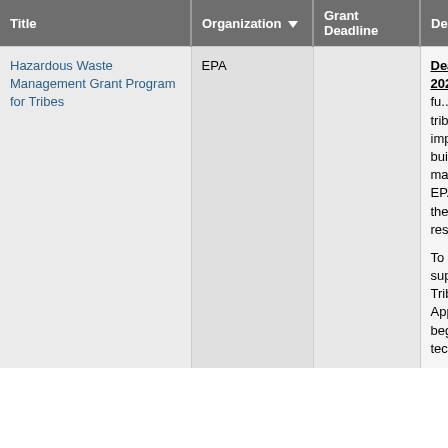| Title | Organization ▼ | Grant Deadline | Description |
| --- | --- | --- | --- |
| Hazardous Waste Management Grant Program for Tribes | EPA |  | Deadline Passed 08/01/2019. Unknown for 2020. This notice announces the availability of fu... solicits applications from feder... recognized tribes or intertribal... the development and impleme... hazardous waste programs an... building capacity to address ha... waste management in Indian c... accordance with the EPA India... 1984, EPA recognizes tribal go... as the primary parties for mana... programs for reservations.

To maximize the benefits to tri... limited funding to support the H... Waste Management Grant Pro... Tribes, EPA has reassessed th... used to evaluate Applications s... funding through this grant prog... beginning in FY 2015.  The go... effort is to provide technical as... |